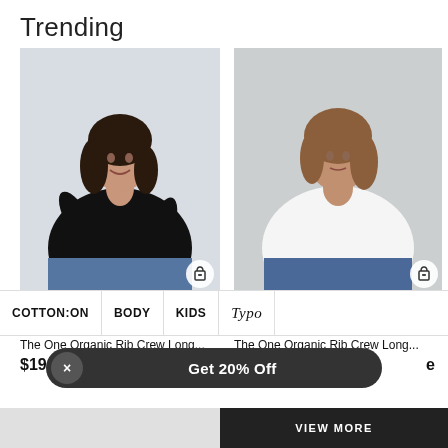Trending
[Figure (photo): Woman wearing black long sleeve ribbed crew neck top and jeans, posing with arm raised]
[Figure (photo): Woman wearing white long sleeve ribbed crew neck top and jeans, standing with arms crossed]
COTTON:ON | BODY | KIDS | Typo
The One Organic Rib Crew Long...
The One Organic Rib Crew Long...
$19.9
Get 20% Off
VIEW MORE